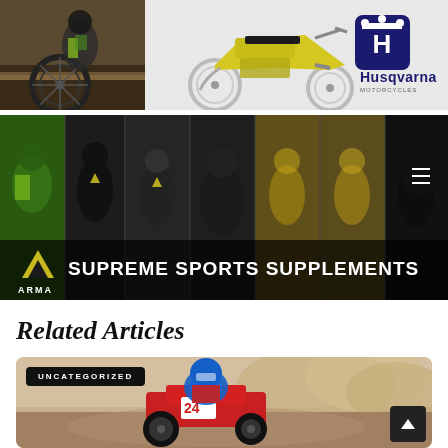[Figure (photo): Motocross rider on dirt bike, left portion of top banner]
[Figure (photo): Husqvarna motorcycle advertisement with yellow dirt bike and Husqvarna logo]
[Figure (photo): ARMA Supreme Sports Supplements banner with collage of athletes across multiple sports]
Related Articles
[Figure (photo): Motocross rider with blue helmet on red bike with number 24, UNCATEGORIZED tag]
UNCATEGORIZED